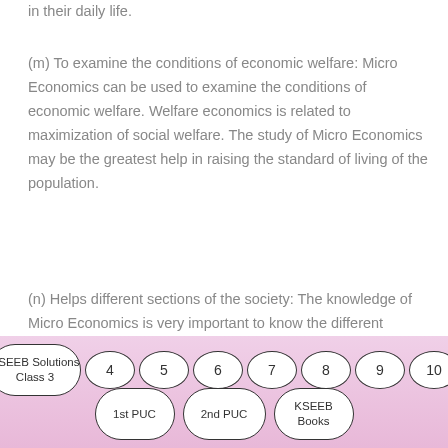in their daily life.
(m) To examine the conditions of economic welfare: Micro Economics can be used to examine the conditions of economic welfare. Welfare economics is related to maximization of social welfare. The study of Micro Economics may be the greatest help in raising the standard of living of the population.
(n) Helps different sections of the society: The knowledge of Micro Economics is very important to know the different sections of the society like poor, middle class, rich, male and female population, skilled and unskilled labourers etc. It helps us to understand
KSEEB Solutions Class 3  4  5  6  7  8  9  10  1st PUC  2nd PUC  KSEEB Books